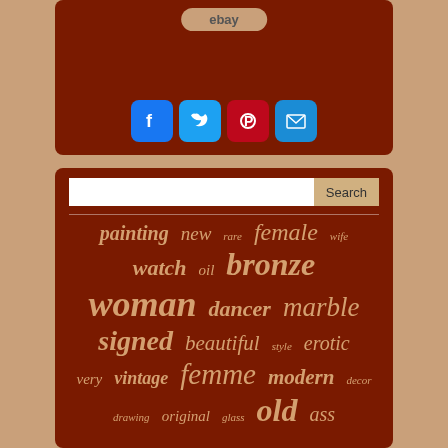[Figure (screenshot): eBay button at top of a brown panel]
[Figure (infographic): Social sharing icons: Facebook, Twitter, Pinterest, Email]
[Figure (infographic): Search bar with Search button and tag cloud of words: painting, new, rare, female, wife, watch, oil, bronze, woman, dancer, marble, signed, beautiful, style, erotic, very, vintage, femme, modern, decor, drawing, original, glass, old, ass]